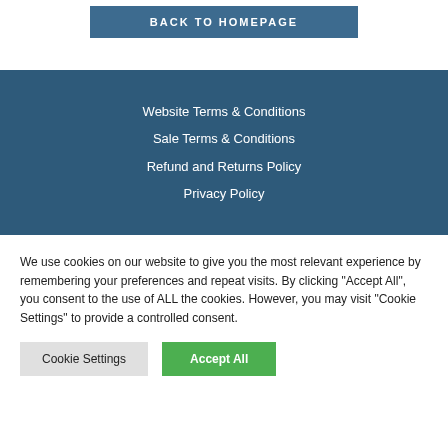BACK TO HOMEPAGE
Website Terms & Conditions
Sale Terms & Conditions
Refund and Returns Policy
Privacy Policy
We use cookies on our website to give you the most relevant experience by remembering your preferences and repeat visits. By clicking "Accept All", you consent to the use of ALL the cookies. However, you may visit "Cookie Settings" to provide a controlled consent.
Cookie Settings
Accept All